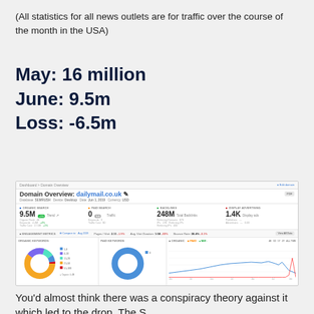(All statistics for all news outlets are for traffic over the course of the month in the USA)
May: 16 million
June: 9.5m
Loss: -6.5m
[Figure (screenshot): Domain Overview screenshot from an SEO tool showing dailymail.co.uk stats: Organic Search 9.5M, Paid Search 0, Backlinks 248M, Display Advertising 1.4K, plus engagement metrics and keyword/organic charts.]
You'd almost think there was a conspiracy theory against it which led to the drop. The S...